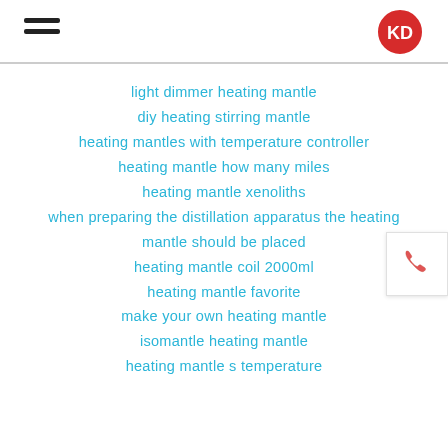KD logo and hamburger menu
light dimmer heating mantle
diy heating stirring mantle
heating mantles with temperature controller
heating mantle how many miles
heating mantle xenoliths
when preparing the distillation apparatus the heating mantle should be placed
heating mantle coil 2000ml
heating mantle favorite
make your own heating mantle
isomantle heating mantle
heating mantle s temperature